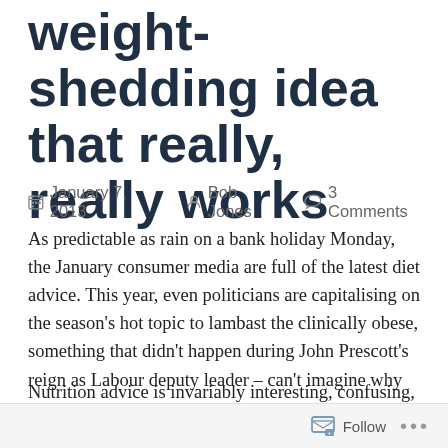algorithms: the one weight-shedding idea that really, really works
January 7, 2013   Bob Jones   3 Comments
As predictable as rain on a bank holiday Monday, the January consumer media are full of the latest diet advice. This year, even politicians are capitalising on the season's hot topic to lambast the clinically obese, something that didn't happen during John Prescott's reign as Labour deputy leader – can't imagine why not.
Nutrition advice is invariably interesting, confusing, irritating and depressing in equal measure. In the 1950s,